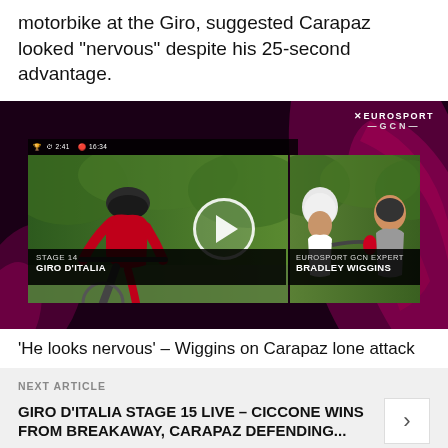motorbike at the Giro, suggested Carapaz looked “nervous” despite his 25-second advantage.
[Figure (screenshot): Eurosport GCN video thumbnail showing a cyclist in a red jersey on the left and Bradley Wiggins being interviewed on the right, with a play button overlay. Chyron reads STAGE 14 GIRO D'ITALIA on the left and EUROSPORT GCN EXPERT BRADLEY WIGGINS on the right. Eurosport/GCN logo in upper right. Pink/magenta swirl decorative background.]
‘He looks nervous’ – Wiggins on Carapaz lone attack
NEXT ARTICLE
GIRO D'ITALIA STAGE 15 LIVE – CICCONE WINS FROM BREAKAWAY, CARAPAZ DEFENDING...